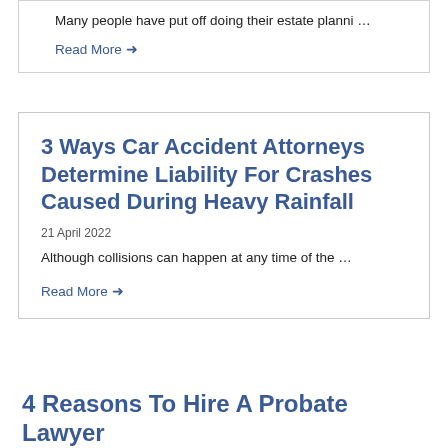Many people have put off doing their estate planni …
Read More →
3 Ways Car Accident Attorneys Determine Liability For Crashes Caused During Heavy Rainfall
21 April 2022
Although collisions can happen at any time of the …
Read More →
4 Reasons To Hire A Probate Lawyer